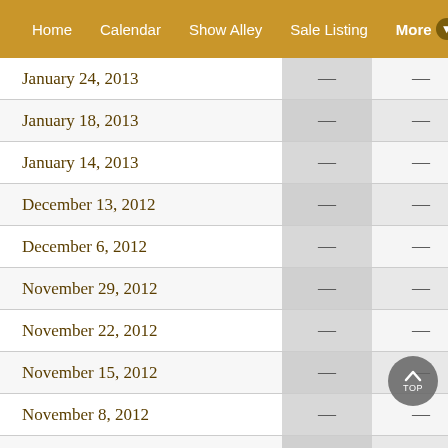Home   Calendar   Show Alley   Sale Listing   More
|  |  |  |
| --- | --- | --- |
| January 24, 2013 | — | — |
| January 18, 2013 | — | — |
| January 14, 2013 | — | — |
| December 13, 2012 | — | — |
| December 6, 2012 | — | — |
| November 29, 2012 | — | — |
| November 22, 2012 | — | — |
| November 15, 2012 | — | — |
| November 8, 2012 | — | — |
| November 1, 2012 | — | — |
| October 26, 2012 | — | — |
| October 18, 2012 | — | — |